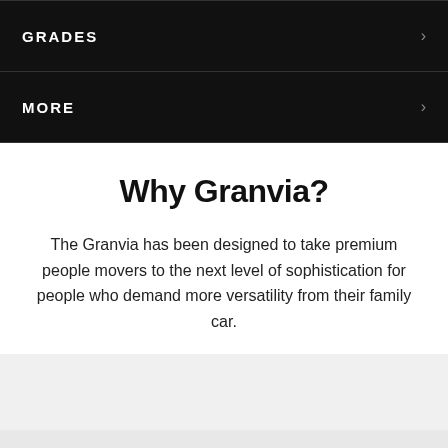GRADES
MORE
Why Granvia?
The Granvia has been designed to take premium people movers to the next level of sophistication for people who demand more versatility from their family car.